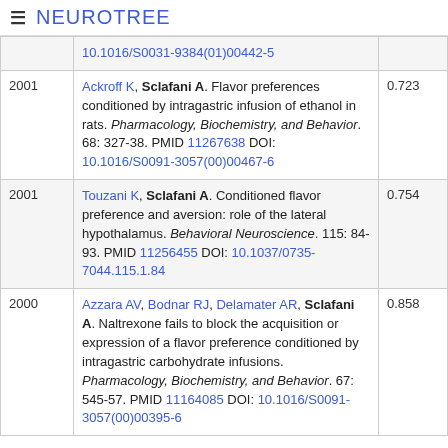≡ NEUROTREE
| Year | Reference | Score |
| --- | --- | --- |
|  | 10.1016/S0031-9384(01)00442-5 |  |
| 2001 | Ackroff K, Sclafani A. Flavor preferences conditioned by intragastric infusion of ethanol in rats. Pharmacology, Biochemistry, and Behavior. 68: 327-38. PMID 11267638 DOI: 10.1016/S0091-3057(00)00467-6 | 0.723 |
| 2001 | Touzani K, Sclafani A. Conditioned flavor preference and aversion: role of the lateral hypothalamus. Behavioral Neuroscience. 115: 84-93. PMID 11256455 DOI: 10.1037/0735-7044.115.1.84 | 0.754 |
| 2000 | Azzara AV, Bodnar RJ, Delamater AR, Sclafani A. Naltrexone fails to block the acquisition or expression of a flavor preference conditioned by intragastric carbohydrate infusions. Pharmacology, Biochemistry, and Behavior. 67: 545-57. PMID 11164085 DOI: 10.1016/S0091-3057(00)00395-6 | 0.858 |